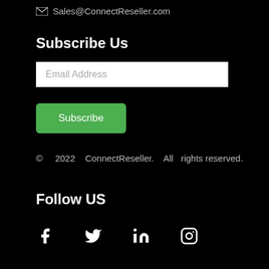Sales@ConnectReseller.com
Subscribe Us
[Figure (other): Email address input field with placeholder text 'Email Address']
[Figure (other): Green Subscribe button]
© 2022 ConnectReseller. All rights reserved.
Follow US
[Figure (other): Social media icons: Facebook, Twitter, LinkedIn, Instagram]